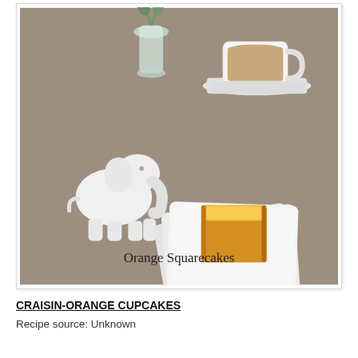[Figure (photo): Photo of orange squarecakes (small square golden-brown cakes/cupcakes) on stacked white square plates, with a white ceramic elephant figurine, a cup of coffee with saucer, and a glass vase in the background on a grey textured surface. Text 'Orange Squarecakes' overlaid at the bottom of the photo.]
CRAISIN-ORANGE CUPCAKES
Recipe source: Unknown